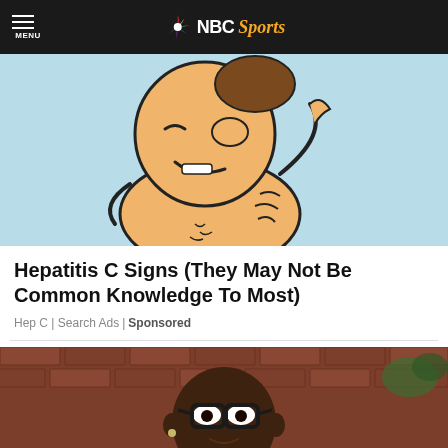MENU | NBC Sports
[Figure (illustration): Cartoon illustration of a person scratching their back on a light blue background]
Hepatitis C Signs (They May Not Be Common Knowledge To Most)
Hep C | Search Ads | Sponsored
[Figure (photo): Photo of a Black man wearing glasses and a dark patterned shirt, seated in front of a brick wall background]